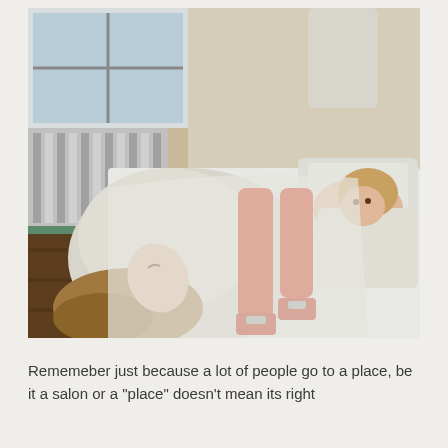[Figure (photo): A photograph showing two women in a room that resembles a hospital or clinical setting. One woman is lying on a bed wearing a white coat/robe and bright red tights with red buckle shoes, with her head hanging back and hair falling down. Another woman sits on a bed in the background also in white, looking sideways. A third figure stands near a window in the background wearing red tights. The setting has a radiator, wooden floors, and white linens.]
Rememeber just because a lot of people go to a place, be it a salon or a "place" doesn't mean its right